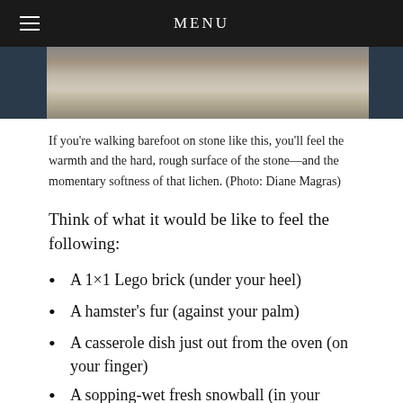MENU
[Figure (photo): Close-up photograph of rough stone with lichen, showing textured rocky surface.]
If you're walking barefoot on stone like this, you'll feel the warmth and the hard, rough surface of the stone—and the momentary softness of that lichen. (Photo: Diane Magras)
Think of what it would be like to feel the following:
A 1×1 Lego brick (under your heel)
A hamster's fur (against your palm)
A casserole dish just out from the oven (on your finger)
A sopping-wet fresh snowball (in your knitted mittens)
What would your reaction be to those physical sensations? Create your own list of physical feelings